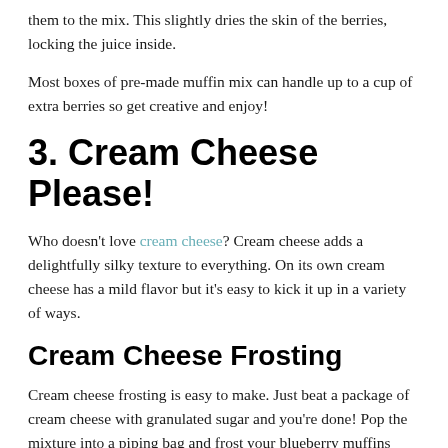them to the mix. This slightly dries the skin of the berries, locking the juice inside.
Most boxes of pre-made muffin mix can handle up to a cup of extra berries so get creative and enjoy!
3. Cream Cheese Please!
Who doesn't love cream cheese? Cream cheese adds a delightfully silky texture to everything. On its own cream cheese has a mild flavor but it's easy to kick it up in a variety of ways.
Cream Cheese Frosting
Cream cheese frosting is easy to make. Just beat a package of cream cheese with granulated sugar and you're done! Pop the mixture into a piping bag and frost your blueberry muffins once they've cooled.